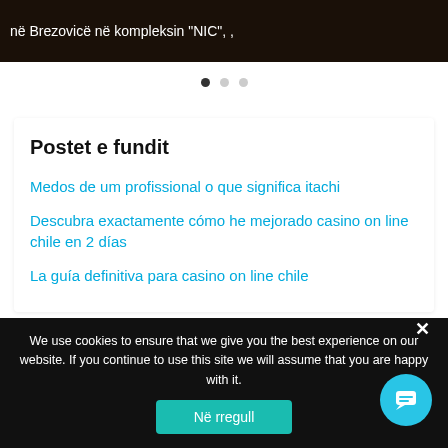[Figure (photo): Dark brown background image with white text: në Brezovicë në kompleksin "NIC", ,]
• • •
Postet e fundit
Medos de um profissional o que significa itachi
Descubra exactamente cómo he mejorado casino on line chile en 2 días
La guía definitiva para casino on line chile
We use cookies to ensure that we give you the best experience on our website. If you continue to use this site we will assume that you are happy with it.
Në rregull